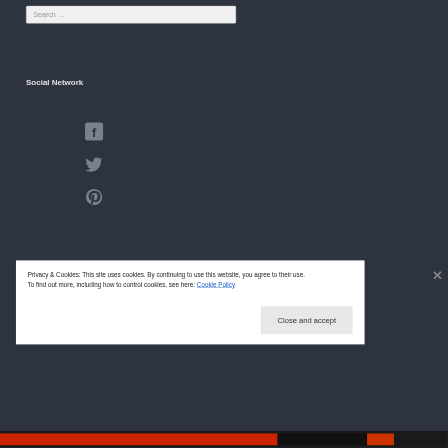Search …
Social Network
[Figure (illustration): Facebook icon (rounded square with f logo), Twitter bird icon, and Pinterest P icon, all in muted gray color on dark background]
Privacy & Cookies: This site uses cookies. By continuing to use this website, you agree to their use.
To find out more, including how to control cookies, see here: Cookie Policy
Close and accept